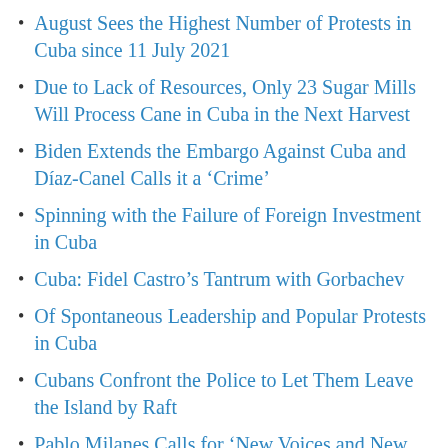August Sees the Highest Number of Protests in Cuba since 11 July 2021
Due to Lack of Resources, Only 23 Sugar Mills Will Process Cane in Cuba in the Next Harvest
Biden Extends the Embargo Against Cuba and Díaz-Canel Calls it a ‘Crime’
Spinning with the Failure of Foreign Investment in Cuba
Cuba: Fidel Castro’s Tantrum with Gorbachev
Of Spontaneous Leadership and Popular Protests in Cuba
Cubans Confront the Police to Let Them Leave the Island by Raft
Pablo Milanes Calls for ‘New Voices and New